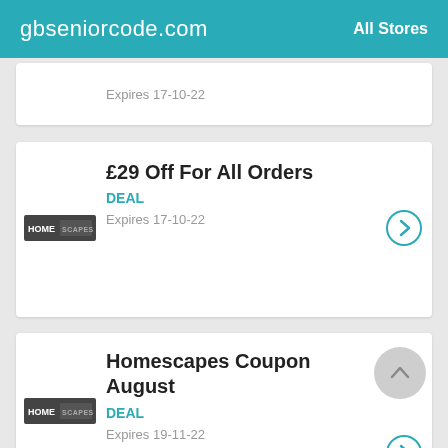gbseniorcode.com | All Stores
Expires 17-10-22
£29 Off For All Orders
DEAL
Expires 17-10-22
Homescapes Coupon August
DEAL
Expires 19-11-22